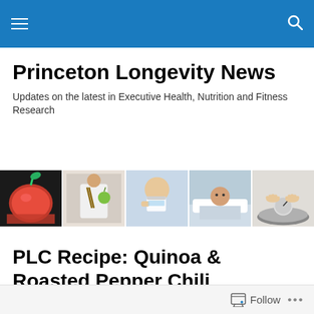Princeton Longevity News — navigation bar
Princeton Longevity News
Updates on the latest in Executive Health, Nutrition and Fitness Research
[Figure (photo): A horizontal strip of five photos: a red apple dessert, a person holding a green apple with chopsticks/fork, a person drinking water from a cup, a man lying in a hospital bed, and feet standing on a weight scale.]
PLC Recipe: Quinoa & Roasted Pepper Chili
Follow